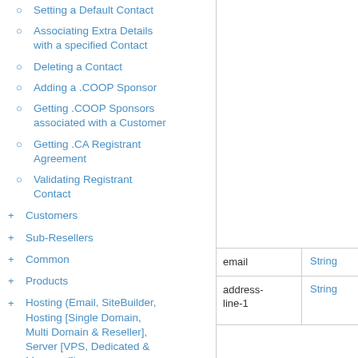Setting a Default Contact
Associating Extra Details with a specified Contact
Deleting a Contact
Adding a .COOP Sponsor
Getting .COOP Sponsors associated with a Customer
Getting .CA Registrant Agreement
Validating Registrant Contact
Customers
Sub-Resellers
Common
Products
Hosting (Email, SiteBuilder, Hosting [Single Domain, Multi Domain & Reseller], Server [VPS, Dedicated & Managed])
SiteLock
|  |  |
| --- | --- |
| email | String |
| address-line-1 | String |
| city | String |